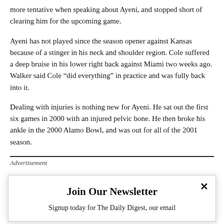more tentative when speaking about Ayeni, and stopped short of clearing him for the upcoming game.
Ayeni has not played since the season opener against Kansas because of a stinger in his neck and shoulder region. Cole suffered a deep bruise in his lower right back against Miami two weeks ago. Walker said Cole “did everything” in practice and was fully back into it.
Dealing with injuries is nothing new for Ayeni. He sat out the first six games in 2000 with an injured pelvic bone. He then broke his ankle in the 2000 Alamo Bowl, and was out for all of the 2001 season.
Advertisement
Join Our Newsletter
Signup today for The Daily Digest, our email